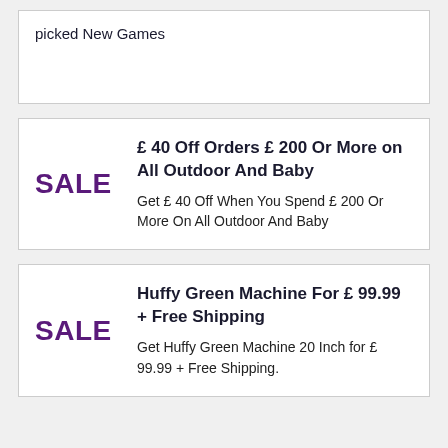picked New Games
SALE
£ 40 Off Orders £ 200 Or More on All Outdoor And Baby
Get £ 40 Off When You Spend £ 200 Or More On All Outdoor And Baby
SALE
Huffy Green Machine For £ 99.99 + Free Shipping
Get Huffy Green Machine 20 Inch for £ 99.99 + Free Shipping.